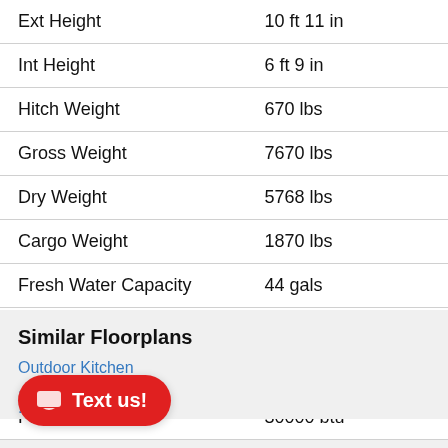| Specification | Value |
| --- | --- |
| Ext Height | 10 ft 11 in |
| Int Height | 6 ft 9 in |
| Hitch Weight | 670 lbs |
| Gross Weight | 7670 lbs |
| Dry Weight | 5768 lbs |
| Cargo Weight | 1870 lbs |
| Fresh Water Capacity | 44 gals |
| Grey Water Capacity | 30 gals |
| Black Water Capacity | 30 gals |
| Furnace BTU | 30000 btu |
Similar Floorplans
Outdoor Kitchen
...tte
...n
Text us!